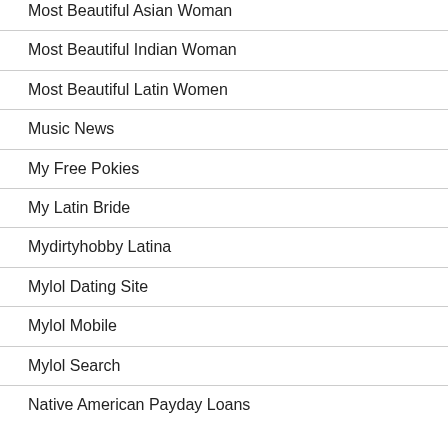Most Beautiful Asian Woman
Most Beautiful Indian Woman
Most Beautiful Latin Women
Music News
My Free Pokies
My Latin Bride
Mydirtyhobby Latina
Mylol Dating Site
Mylol Mobile
Mylol Search
Native American Payday Loans